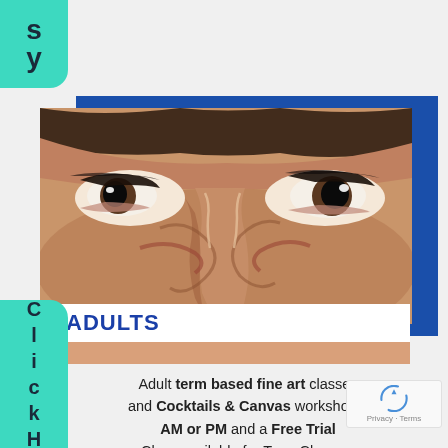s
y
[Figure (illustration): Close-up oil painting of a person's eyes looking upward, with swirling warm tones of brown, orange, and cream depicting the brow and nose bridge area. A blue rectangle is positioned behind the painting as a decorative element.]
ADULTS
Adult term based fine art classes and Cocktails & Canvas workshops. AM or PM and a Free Trial Class available for Term Classes. All materials, tuition and a light
C
l
i
c
k
H